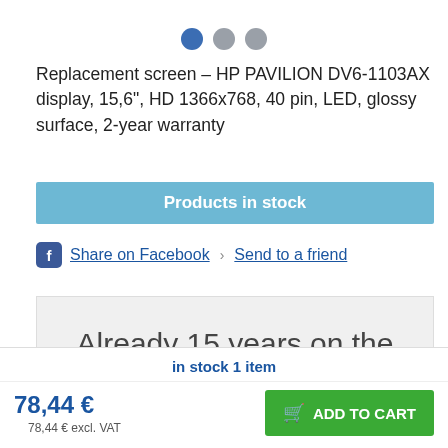[Figure (other): Three navigation dots: one blue (active), two gray]
Replacement screen – HP PAVILION DV6-1103AX display, 15,6", HD 1366x768, 40 pin, LED, glossy surface, 2-year warranty
Products in stock
Share on Facebook  >  Send to a friend
Already 15 years on the market.
Laptop spare parts and laptop service
in stock 1 item
78,44 €
78,44 € excl. VAT
ADD TO CART